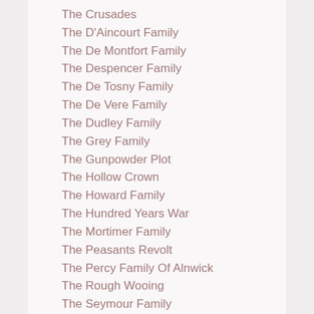The Crusades
The D'Aincourt Family
The De Montfort Family
The Despencer Family
The De Tosny Family
The De Vere Family
The Dudley Family
The Grey Family
The Gunpowder Plot
The Hollow Crown
The Howard Family
The Hundred Years War
The Mortimer Family
The Peasants Revolt
The Percy Family Of Alnwick
The Rough Wooing
The Seymour Family
The Sutton Family
The Talbot Family